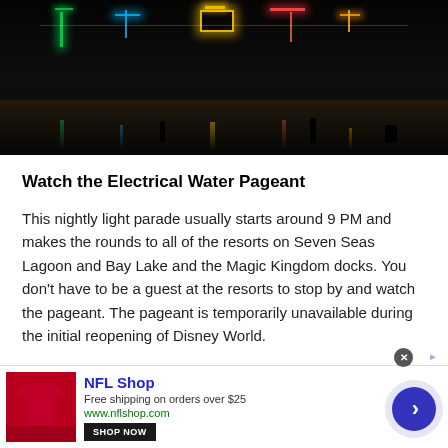[Figure (photo): Nighttime photo of the Electrical Water Pageant on a lake, showing illuminated float figures (sea creatures, characters) on water with colorful light reflections. Dark background with green, blue, yellow, and red lights.]
Watch the Electrical Water Pageant
This nightly light parade usually starts around 9 PM and makes the rounds to all of the resorts on Seven Seas Lagoon and Bay Lake and the Magic Kingdom docks. You don't have to be a guest at the resorts to stop by and watch the pageant. The pageant is temporarily unavailable during the initial reopening of Disney World.
[Figure (infographic): Advertisement banner for NFL Shop. Shows NFL Shop logo, text 'Free shipping on orders over $25' and 'www.nflshop.com', a 'SHOP NOW' button, a close (x) button, and a blue circular arrow button on the right.]